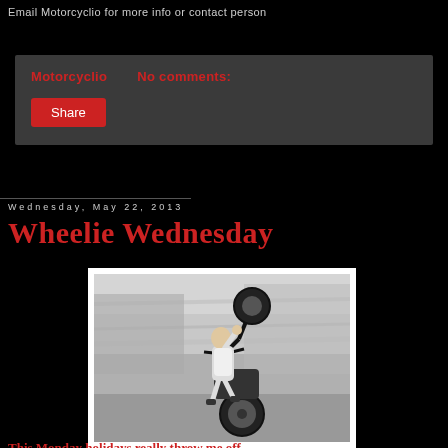Email Motorcyclio for more info or contact person
Motorcyclio   No comments:
Share
Wednesday, May 22, 2013
Wheelie Wednesday
[Figure (photo): Black and white motion-blurred photo of a person performing a wheelie on a motorcycle on a street]
This Monday holidays really throw me off